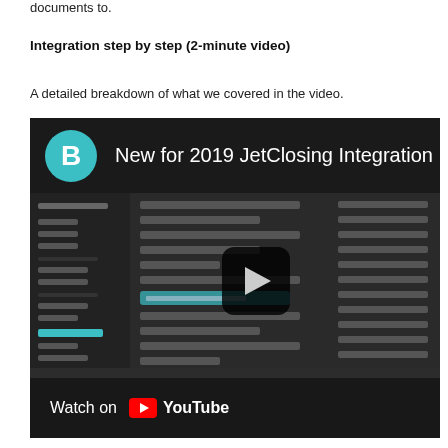documents to.
Integration step by step (2-minute video)
A detailed breakdown of what we covered in the video.
[Figure (screenshot): YouTube video embed showing 'New for 2019 JetClosing Integration' with a teal 'B' logo circle, dark UI screenshot with sidebar and content list, a play button overlay, and 'Watch on YouTube' bar at bottom.]